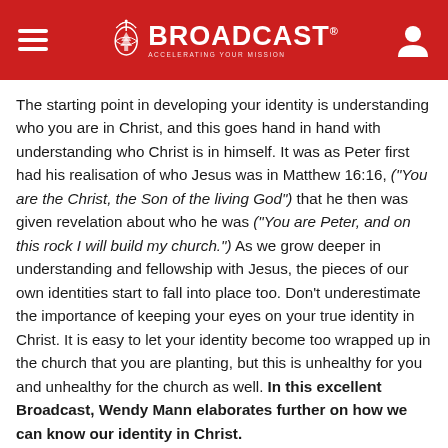BROADCAST
The starting point in developing your identity is understanding who you are in Christ, and this goes hand in hand with understanding who Christ is in himself. It was as Peter first had his realisation of who Jesus was in Matthew 16:16, ("You are the Christ, the Son of the living God") that he then was given revelation about who he was ("You are Peter, and on this rock I will build my church.") As we grow deeper in understanding and fellowship with Jesus, the pieces of our own identities start to fall into place too. Don't underestimate the importance of keeping your eyes on your true identity in Christ. It is easy to let your identity become too wrapped up in the church that you are planting, but this is unhealthy for you and unhealthy for the church as well. In this excellent Broadcast, Wendy Mann elaborates further on how we can know our identity in Christ.